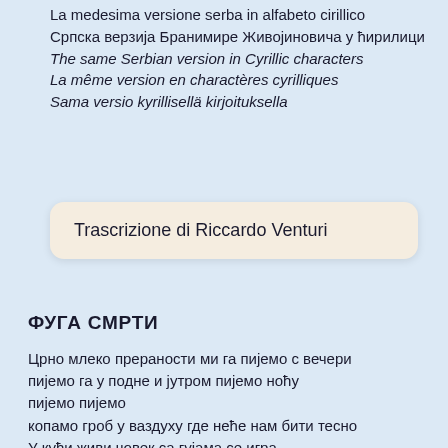La medesima versione serba in alfabeto cirillico
Српска верзија Бранимире Живојиновича у ћирилици
The same Serbian version in Cyrillic characters
La même version en charactères cyrilliques
Sama versio kyrillisellä kirjoituksella
Trascrizione di Riccardo Venturi
ФУГА СМРТИ
Црно млеко прераности ми га пијемо с вечери
пијемо га у подне и јутром пијемо ноћу
пијемо пијемо
копамо гроб у ваздуху где неће нам бити тесно
У кући живи човек са гујама се игра
под сутон у Немачку пише твоја коса од злата
Маргрето